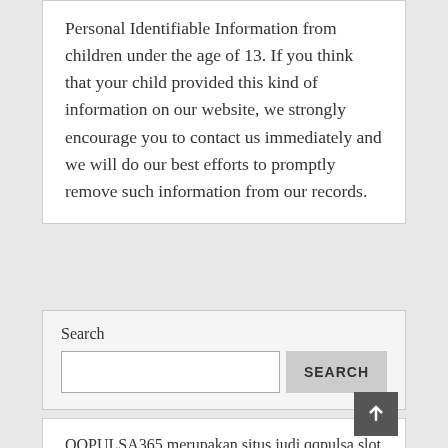Personal Identifiable Information from children under the age of 13. If you think that your child provided this kind of information on our website, we strongly encourage you to contact us immediately and we will do our best efforts to promptly remove such information from our records.
Search
QQPULSA365 merupakan situs judi qqpulsa slot gacor deposit pulsa, gopay, ovo dan dana tanpa potongan
slot pulsa terpercaya 2021 hanya ada di Virtusplay
KOKO188 adalah Situs Judi Slot Gacor Online Deposit Pulsa Tanpa Potongan sejak tahun 2012.
Nusaplay ialah situs slot deposit pulsa bebas potongan pertama di Indonesia.